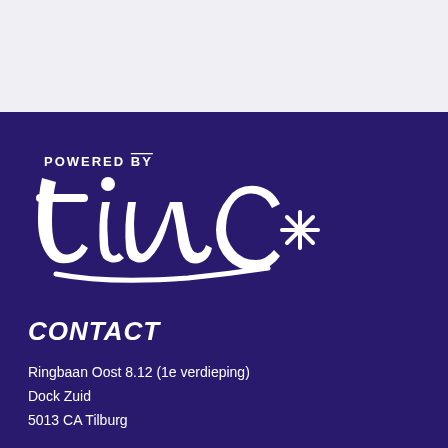[Figure (logo): Powered by tinc logo on dark purple background with white script lettering and an asterisk/snowflake symbol to the right]
CONTACT
Ringbaan Oost 8.12 (1e verdieping)
Dock Zuid
5013 CA Tilburg